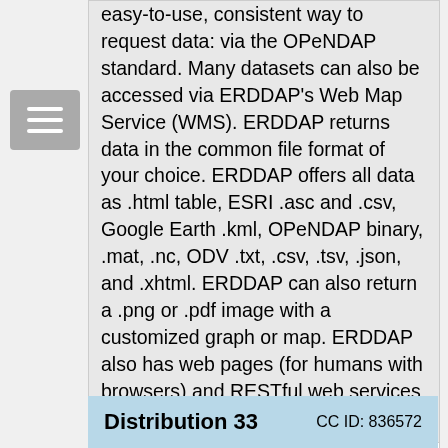easy-to-use, consistent way to request data: via the OPeNDAP standard. Many datasets can also be accessed via ERDDAP's Web Map Service (WMS). ERDDAP returns data in the common file format of your choice. ERDDAP offers all data as .html table, ESRI .asc and .csv, Google Earth .kml, OPeNDAP binary, .mat, .nc, ODV .txt, .csv, .tsv, .json, and .xhtml. ERDDAP can also return a .png or .pdf image with a customized graph or map. ERDDAP also has web pages (for humans with browsers) and RESTful web services (for computer programs).
| File Type: |  |
| --- | --- |
| File Type: | ERDDAP Data Server |
Distribution 33   CC ID: 836572